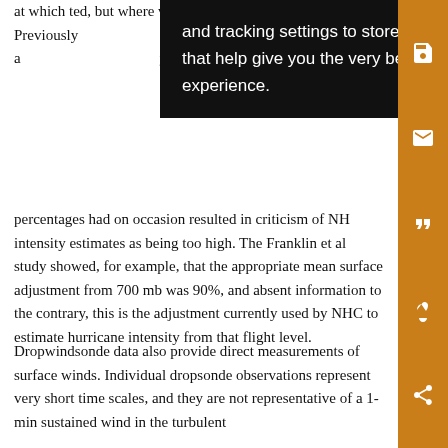at which t[he wind speeds are recorde]d, but where ve[ry high flight-level wind speeds exist.] Previously[, these high] over time but a[nd this can result in intensit]y at 80%–90%[…]
[Figure (other): Black tooltip overlay with white text reading: 'and tracking settings to store information that help give you the very best browsing experience.']
percentages had on occasion resulted in criticism of NH[C] intensity estimates as being too high. The Franklin et al[.] study showed, for example, that the appropriate mean surface adjustment from 700 mb was 90%, and absent information to the contrary, this is the adjustment currently used by NHC to estimate hurricane intensity from that flight level.
Dropwindsonde data also provide direct measurements of surface winds. Individual dropsonde observations represent very short time scales, and they are not representative of a 1-min sustained wind in the turbulent